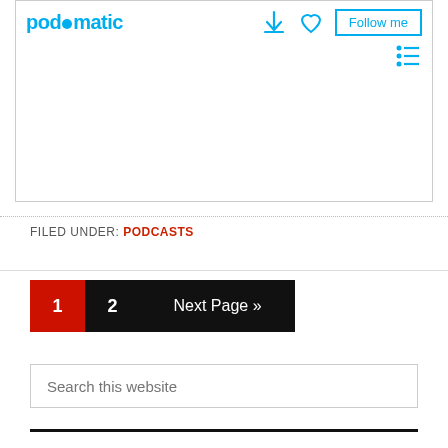[Figure (screenshot): Podomatic podcast widget embed with logo, download icon, heart/like icon, Follow me button, and menu icon]
FILED UNDER: PODCASTS
1  2  Next Page »
Search this website